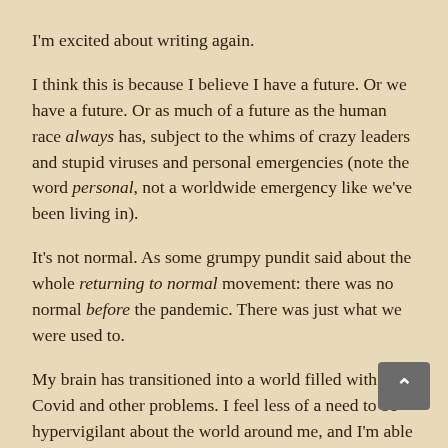I'm excited about writing again.
I think this is because I believe I have a future. Or we have a future. Or as much of a future as the human race always has, subject to the whims of crazy leaders and stupid viruses and personal emergencies (note the word personal, not a worldwide emergency like we've been living in).
It's not normal. As some grumpy pundit said about the whole returning to normal movement: there was no normal before the pandemic. There was just what we were used to.
My brain has transitioned into a world filled with Covid and other problems. I feel less of a need to be hypervigilant about the world around me, and I'm able to escape into a world I invent.